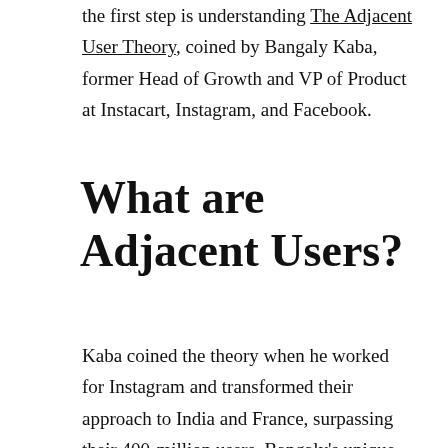the first step is understanding The Adjacent User Theory, coined by Bangaly Kaba, former Head of Growth and VP of Product at Instacart, Instagram, and Facebook.
What are Adjacent Users?
Kaba coined the theory when he worked for Instagram and transformed their approach to India and France, surpassing their 400-million users. Bangaly's unique approach helped the users in India and France and Instagram's current users as well. He took a basic idea and dove into expanding its application worldwide.